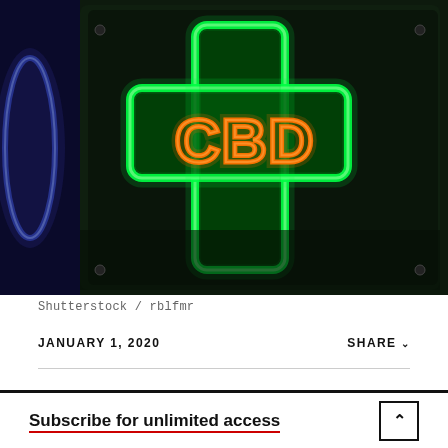[Figure (photo): Neon sign showing a green cross with orange 'CBD' text inside, with a blue neon sign partially visible on the left, against a dark background.]
Shutterstock / rblfmr
JANUARY 1, 2020
SHARE ∨
Subscribe for unlimited access